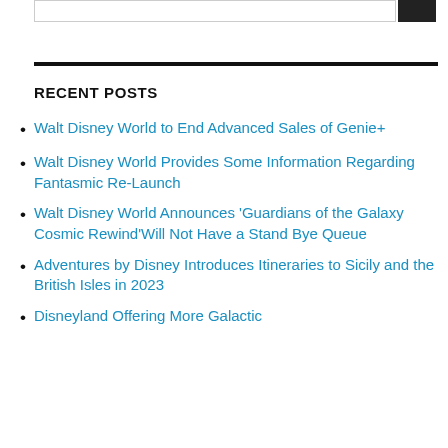RECENT POSTS
Walt Disney World to End Advanced Sales of Genie+
Walt Disney World Provides Some Information Regarding Fantasmic Re-Launch
Walt Disney World Announces ‘Guardians of the Galaxy Cosmic Rewind’Will Not Have a Stand Bye Queue
Adventures by Disney Introduces Itineraries to Sicily and the British Isles in 2023
Disneyland Offering More Galactic